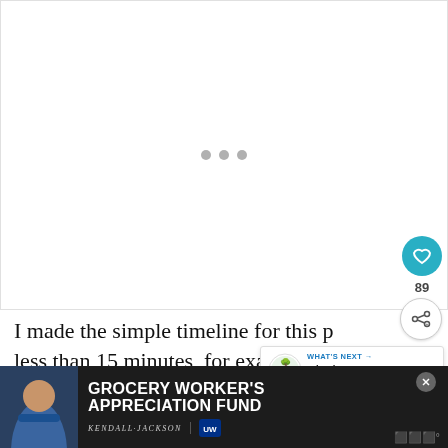[Figure (other): White image placeholder area with three gray loading dots centered]
I made the simple timeline for this p... less than 15 minutes, for example. I m... considering making similar timelines for all re... ...le in a
[Figure (other): WHAT'S NEXT popup with circular logo and text: What is a Quick and...]
[Figure (other): Advertisement banner: GROCERY WORKER'S APPRECIATION FUND with Kendall Jackson and United Way logos]